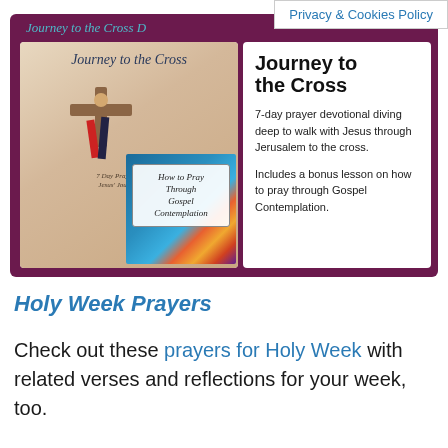Privacy & Cookies Policy
[Figure (illustration): Promotional image for 'Journey to the Cross' - a purple banner containing two panels: left panel shows book cover with cross figure and bonus booklet overlay, right panel shows text description of the 7-day prayer devotional]
Holy Week Prayers
Check out these prayers for Holy Week with related verses and reflections for your week, too.